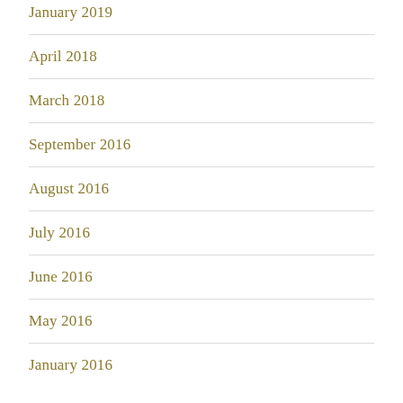January 2019
April 2018
March 2018
September 2016
August 2016
July 2016
June 2016
May 2016
January 2016